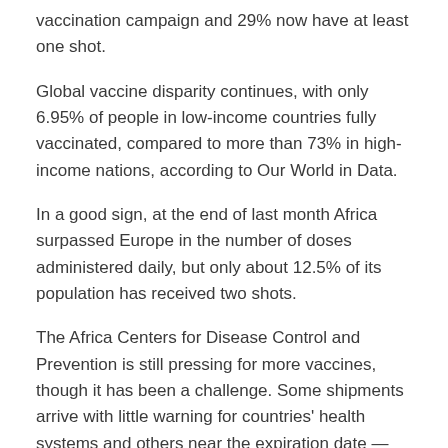vaccination campaign and 29% now have at least one shot.
Global vaccine disparity continues, with only 6.95% of people in low-income countries fully vaccinated, compared to more than 73% in high-income nations, according to Our World in Data.
In a good sign, at the end of last month Africa surpassed Europe in the number of doses administered daily, but only about 12.5% of its population has received two shots.
The Africa Centers for Disease Control and Prevention is still pressing for more vaccines, though it has been a challenge. Some shipments arrive with little warning for countries' health systems and others near the expiration date — forcing doses to be destroyed.
Eastern Europe has been particularly hard hit by the omicron variant, and with the Russian invasion of Ukraine, a new risk